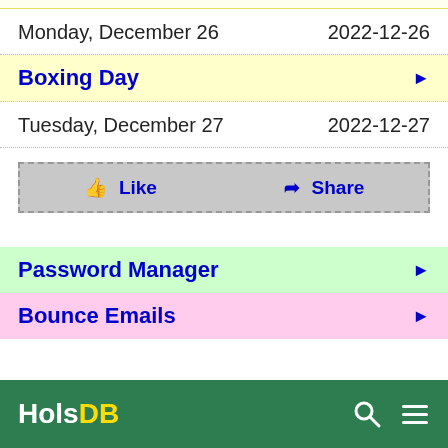Monday, December 26 | 2022-12-26
Boxing Day ▶
Tuesday, December 27 | 2022-12-27
👍 Like   ➤ Share
Password Manager ▶
Bounce Emails ▶
HolsDB 🔍 ≡